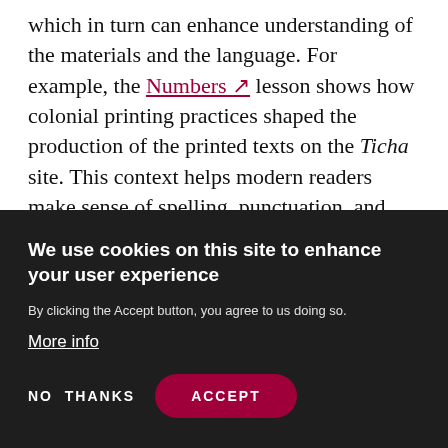which in turn can enhance understanding of the materials and the language. For example, the Numbers lesson shows how colonial printing practices shaped the production of the printed texts on the Ticha site. This context helps modern readers make sense of spelling, punctuation, and abbreviations that would otherwise seem unusual and confusing.
We use cookies on this site to enhance your user experience
By clicking the Accept button, you agree to us doing so.
More info
NO THANKS
ACCEPT